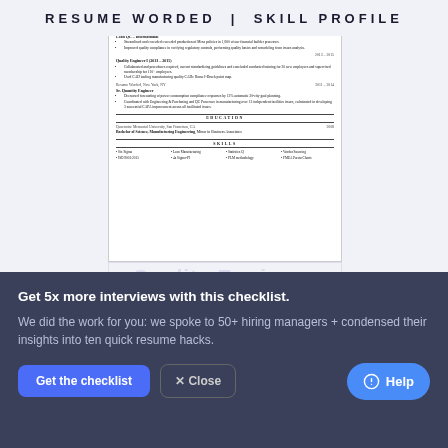RESUME WORDED | SKILL PROFILE
[Figure (screenshot): A resume preview showing a quality engineer resume with work experience, education and skills sections, scaled down inside a card]
GO TO RESUME PAGE
Get 5x more interviews with this checklist.
We did the work for you: we spoke to 50+ hiring managers + condensed their insights into ten quick resume hacks.
Get the checklist
✕ Close
Help